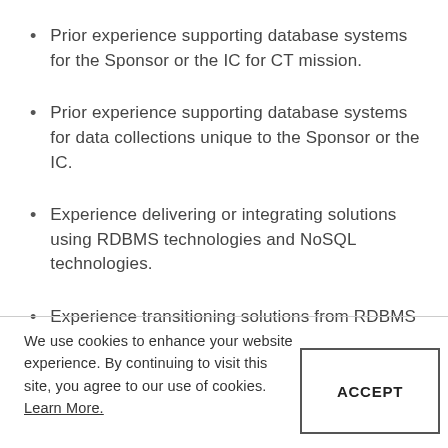Prior experience supporting database systems for the Sponsor or the IC for CT mission.
Prior experience supporting database systems for data collections unique to the Sponsor or the IC.
Experience delivering or integrating solutions using RDBMS technologies and NoSQL technologies.
Experience transitioning solutions from RDBMS
We use cookies to enhance your website experience. By continuing to visit this site, you agree to our use of cookies. Learn More.
ACCEPT